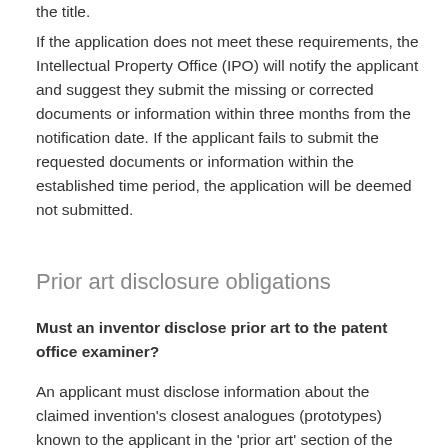the title.
If the application does not meet these requirements, the Intellectual Property Office (IPO) will notify the applicant and suggest they submit the missing or corrected documents or information within three months from the notification date. If the applicant fails to submit the requested documents or information within the established time period, the application will be deemed not submitted.
Prior art disclosure obligations
Must an inventor disclose prior art to the patent office examiner?
An applicant must disclose information about the claimed invention's closest analogues (prototypes) known to the applicant in the 'prior art' section of the